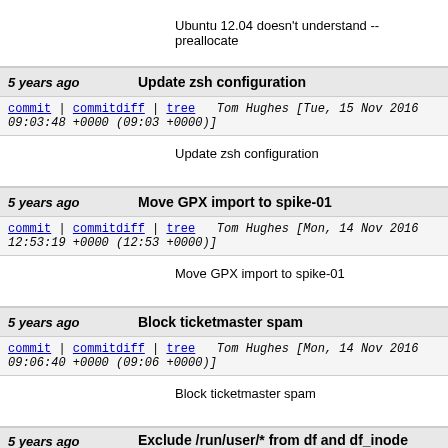Ubuntu 12.04 doesn't understand --preallocate
5 years ago   Update zsh configuration
commit | commitdiff | tree Tom Hughes [Tue, 15 Nov 2016 09:03:48 +0000 (09:03 +0000)]
Update zsh configuration
5 years ago   Move GPX import to spike-01
commit | commitdiff | tree Tom Hughes [Mon, 14 Nov 2016 12:53:19 +0000 (12:53 +0000)]
Move GPX import to spike-01
5 years ago   Block ticketmaster spam
commit | commitdiff | tree Tom Hughes [Mon, 14 Nov 2016 09:06:40 +0000 (09:06 +0000)]
Block ticketmaster spam
5 years ago   Exclude /run/user/* from df and df_inode graphs
commit | commitdiff | tree Tom Hughes [Sat, 12 Nov 2016 09:50:04